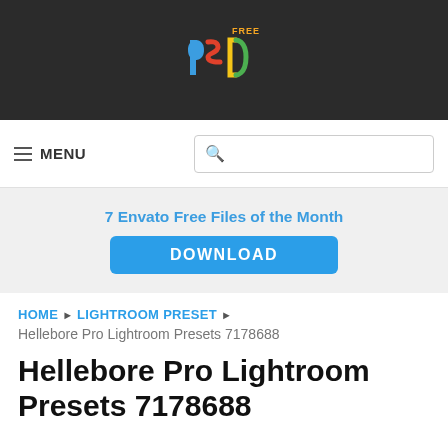[Figure (logo): FreePSD website logo with colorful stylized 'psd' letters on dark background]
≡ MENU | Search box
7 Envato Free Files of the Month
DOWNLOAD
HOME ▶ LIGHTROOM PRESET ▶
Hellebore Pro Lightroom Presets 7178688
Hellebore Pro Lightroom Presets 7178688